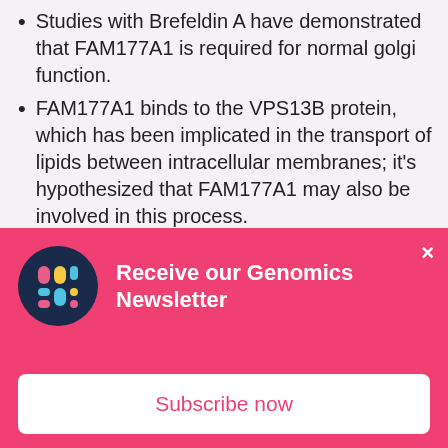Studies with Brefeldin A have demonstrated that FAM177A1 is required for normal golgi function.
FAM177A1 binds to the VPS13B protein, which has been implicated in the transport of lipids between intracellular membranes; it's hypothesized that FAM177A1 may also be involved in this process.
After a 16-year diagnostic quest, we finally have a diagnosis, and information about this previously understudied gene is accumulating at a relatively rapid pace.  Our team of clinicians and researchers think that a
[Figure (other): Newsletter signup overlay with pink background. Contains a dark navy circular logo with colored dot grid, bold white text 'Receive our Genomics Newsletter', a close X button, and a white 'Subscribe now' button.]